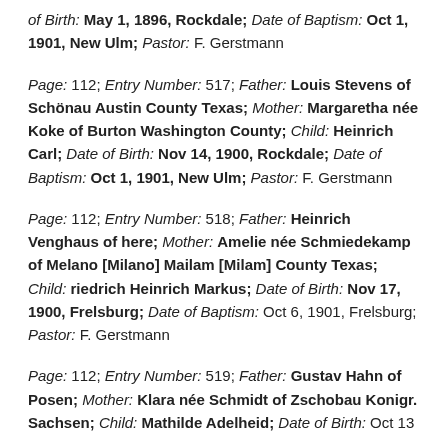of Birth: May 1, 1896, Rockdale; Date of Baptism: Oct 1, 1901, New Ulm; Pastor: F. Gerstmann
Page: 112; Entry Number: 517; Father: Louis Stevens of Schönau Austin County Texas; Mother: Margaretha née Koke of Burton Washington County; Child: Heinrich Carl; Date of Birth: Nov 14, 1900, Rockdale; Date of Baptism: Oct 1, 1901, New Ulm; Pastor: F. Gerstmann
Page: 112; Entry Number: 518; Father: Heinrich Venghaus of here; Mother: Amelie née Schmiedekamp of Melano [Milano] Mailam [Milam] County Texas; Child: riedrich Heinrich Markus; Date of Birth: Nov 17, 1900, Frelsburg; Date of Baptism: Oct 6, 1901, Frelsburg; Pastor: F. Gerstmann
Page: 112; Entry Number: 519; Father: Gustav Hahn of Posen; Mother: Klara née Schmidt of Zschobau Konigr. Sachsen; Child: Mathilde Adelheid; Date of Birth: Oct 13...